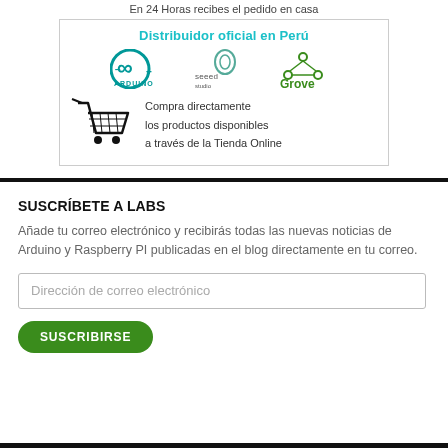En 24 Horas recibes el pedido en casa
[Figure (infographic): Official distributor banner for Peru showing Arduino, Seeed Studio, and Grove logos alongside a shopping cart icon with text 'Compra directamente los productos disponibles a través de la Tienda Online']
SUSCRÍBETE A LABS
Añade tu correo electrónico y recibirás todas las nuevas noticias de Arduino y Raspberry PI publicadas en el blog directamente en tu correo.
Dirección de correo electrónico
SUSCRIBIRSE